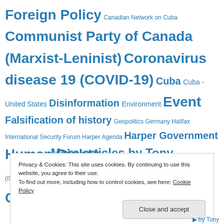Foreign Policy Canadian Network on Cuba Communist Party of Canada (Marxist-Leninist) Coronavirus disease 19 (COVID-19) Cuba Cuba - United States Disinformation Environment Event Falsification of history Geopolitics Germany Halifax International Security Forum Harper Agenda Harper Government Human Rights Iran Ireland Islamic State in Iraq and Syria (ISIS) Israel - state terrorism Justin Trudeau Government Legacies: Lives lived / past
More articles by Tony
Privacy & Cookies: This site uses cookies. By continuing to use this website, you agree to their use. To find out more, including how to control cookies, see here: Cookie Policy